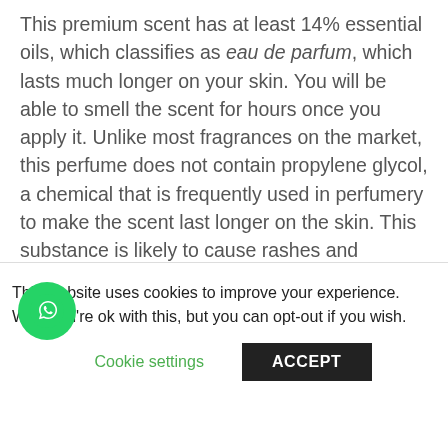This premium scent has at least 14% essential oils, which classifies as eau de parfum, which lasts much longer on your skin. You will be able to smell the scent for hours once you apply it. Unlike most fragrances on the market, this perfume does not contain propylene glycol, a chemical that is frequently used in perfumery to make the scent last longer on the skin. This substance is likely to cause rashes and irritation. Scent&Colour perfumes naturally settle and stay on you thanks to the quality of our ingredients as well as the concentration of oils; which makes
This website uses cookies to improve your experience. We'll you're ok with this, but you can opt-out if you wish.
Cookie settings
ACCEPT